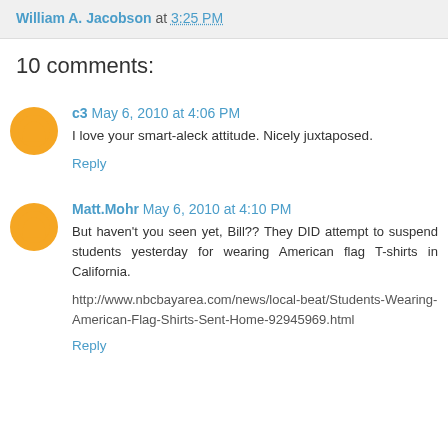William A. Jacobson at 3:25 PM
10 comments:
c3 May 6, 2010 at 4:06 PM
I love your smart-aleck attitude. Nicely juxtaposed.
Reply
Matt.Mohr May 6, 2010 at 4:10 PM
But haven't you seen yet, Bill?? They DID attempt to suspend students yesterday for wearing American flag T-shirts in California.
http://www.nbcbayarea.com/news/local-beat/Students-Wearing-American-Flag-Shirts-Sent-Home-92945969.html
Reply